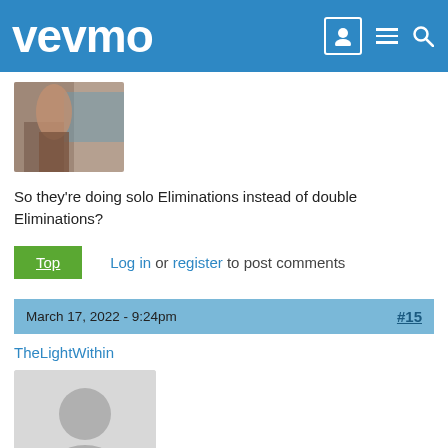vevmo
[Figure (photo): User profile photo thumbnail showing a person outdoors]
So they're doing solo Eliminations instead of double Eliminations?
Top | Log in or register to post comments
March 17, 2022 - 9:24pm  #15
TheLightWithin
[Figure (photo): Default user avatar placeholder with grey silhouette]